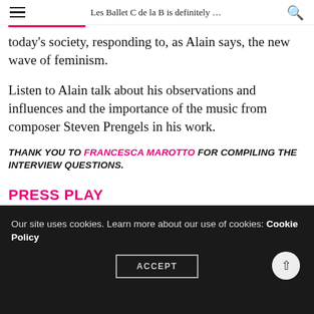Les Ballet C de la B is definitely …
today's society, responding to, as Alain says, the new wave of feminism.
Listen to Alain talk about his observations and influences and the importance of the music from composer Steven Prengels in his work.
THANK YOU TO FRANCESCA MAROTTO FOR COMPILING THE INTERVIEW QUESTIONS.
PRESS PLAY
Our site uses cookies. Learn more about our use of cookies: Cookie Policy